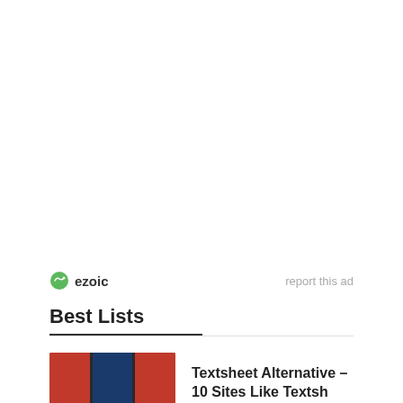[Figure (other): Advertisement area (blank/white space) with ezoic branding and report this ad link below]
Best Lists
Textsheet Alternative – 10 Sites Like Textsh